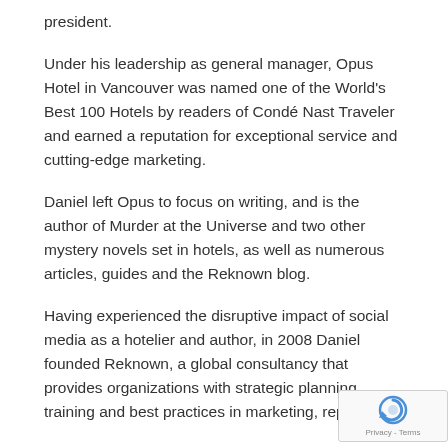president.
Under his leadership as general manager, Opus Hotel in Vancouver was named one of the World's Best 100 Hotels by readers of Condé Nast Traveler and earned a reputation for exceptional service and cutting-edge marketing.
Daniel left Opus to focus on writing, and is the author of Murder at the Universe and two other mystery novels set in hotels, as well as numerous articles, guides and the Reknown blog.
Having experienced the disruptive impact of social media as a hotelier and author, in 2008 Daniel founded Reknown, a global consultancy that provides organizations with strategic planning, training and best practices in marketing, reputation
[Figure (logo): reCAPTCHA badge with Privacy and Terms links]